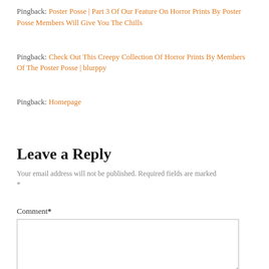Pingback: Poster Posse | Part 3 Of Our Feature On Horror Prints By Poster Posse Members Will Give You The Chills
Pingback: Check Out This Creepy Collection Of Horror Prints By Members Of The Poster Posse | blurppy
Pingback: Homepage
Leave a Reply
Your email address will not be published. Required fields are marked *
Comment *